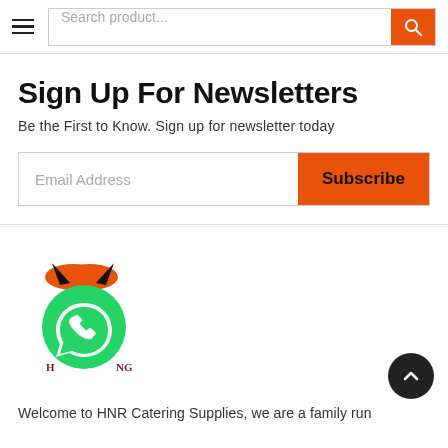Search product...
Sign Up For Newsletters
Be the First to Know. Sign up for newsletter today
Email Address | Subscribe
[Figure (logo): HNR Catering Supplies logo with WhatsApp icon overlay and orange devil horns]
Welcome to HNR Catering Supplies, we are a family run